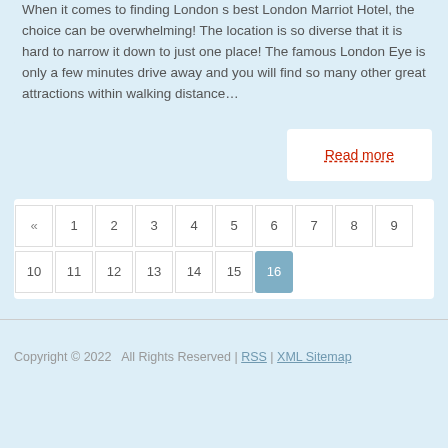When it comes to finding London s best London Marriot Hotel, the choice can be overwhelming! The location is so diverse that it is hard to narrow it down to just one place! The famous London Eye is only a few minutes drive away and you will find so many other great attractions within walking distance…
Read more
« 1 2 3 4 5 6 7 8 9 10 11 12 13 14 15 16
Copyright © 2022  All Rights Reserved | RSS | XML Sitemap